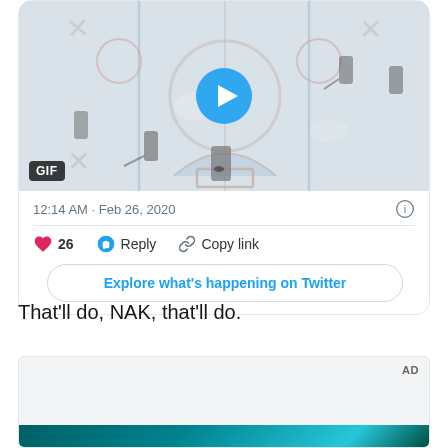[Figure (screenshot): Twitter embedded card showing a hockey GIF with a play button overlay, timestamp '12:14 AM · Feb 26, 2020', 26 likes, Reply and Copy link actions, and an 'Explore what's happening on Twitter' button]
That'll do, NAK, that'll do.
[Figure (screenshot): AD placeholder box with a teal/dark bottom strip]